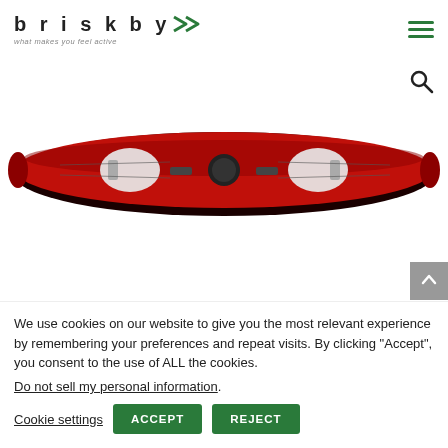briskby >> what makes you feel active
[Figure (photo): Top-down view of a red kayak with two white foot braces and a central hatch, on a white background]
We use cookies on our website to give you the most relevant experience by remembering your preferences and repeat visits. By clicking “Accept”, you consent to the use of ALL the cookies.
Do not sell my personal information.
Cookie settings  ACCEPT  REJECT